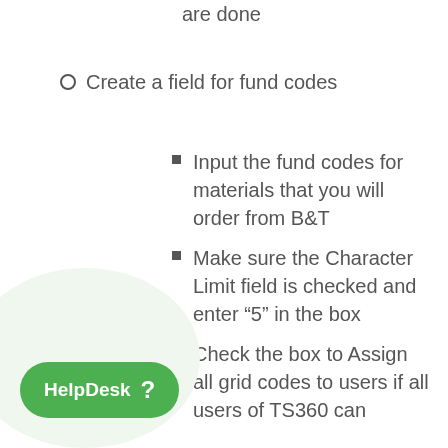are done
Create a field for fund codes
Input the fund codes for materials that you will order from B&T
Make sure the Character Limit field is checked and enter “5” in the box
Check the box to Assign all grid codes to users if all users of TS360 can